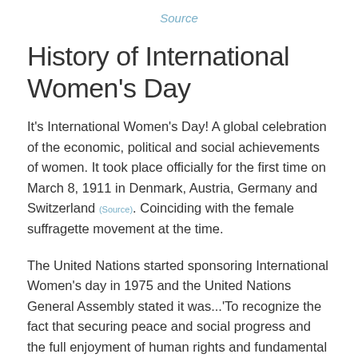Source
History of International Women's Day
It's International Women's Day! A global celebration of the economic, political and social achievements of women. It took place officially for the first time on March 8, 1911 in Denmark, Austria, Germany and Switzerland (Source). Coinciding with the female suffragette movement at the time.
The United Nations started sponsoring International Women's day in 1975 and the United Nations General Assembly stated it was...'To recognize the fact that securing peace and social progress and the full enjoyment of human rights and fundamental freedoms require the active participation, equality and development